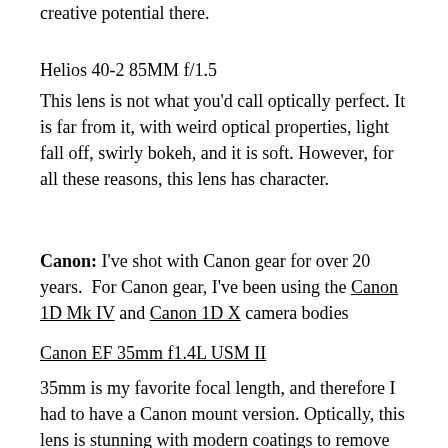creative potential there.
Helios 40-2 85MM f/1.5
This lens is not what you'd call optically perfect. It is far from it, with weird optical properties, light fall off, swirly bokeh, and it is soft. However, for all these reasons, this lens has character.
Canon: I've shot with Canon gear for over 20 years.  For Canon gear, I've been using the Canon 1D Mk IV and Canon 1D X camera bodies
Canon EF 35mm f1.4L USM II
35mm is my favorite focal length, and therefore I had to have a Canon mount version. Optically, this lens is stunning with modern coatings to remove chromatic aberrations and seals to make it weather resistant.  It